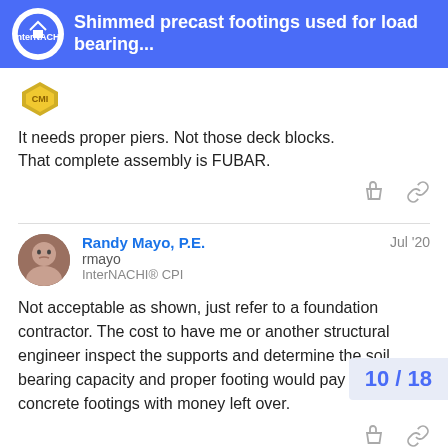Shimmed precast footings used for load bearing...
It needs proper piers. Not those deck blocks.
That complete assembly is FUBAR.
Randy Mayo, P.E. — rmayo — InterNACHI® CPI — Jul '20
Not acceptable as shown, just refer to a foundation contractor. The cost to have me or another structural engineer inspect the supports and determine the soil bearing capacity and proper footing would pay for all new concrete footings with money left over.
10 / 18
Kenton Shepard, CMI